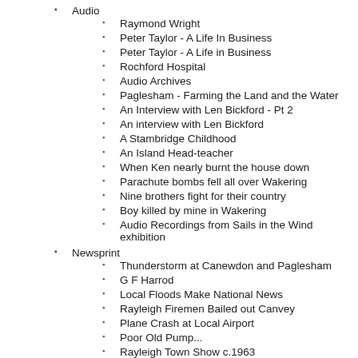Audio
Raymond Wright
Peter Taylor - A Life In Business
Peter Taylor - A Life in Business
Rochford Hospital
Audio Archives
Paglesham - Farming the Land and the Water
An Interview with Len Bickford - Pt 2
An interview with Len Bickford
A Stambridge Childhood
An Island Head-teacher
When Ken nearly burnt the house down
Parachute bombs fell all over Wakering
Nine brothers fight for their country
Boy killed by mine in Wakering
Audio Recordings from Sails in the Wind exhibition
Newsprint
Thunderstorm at Canewdon and Paglesham
G F Harrod
Local Floods Make National News
Rayleigh Firemen Bailed out Canvey
Plane Crash at Local Airport
Poor Old Pump...
Rayleigh Town Show c.1963
Photo Gallery
Roach Valley Way
Ashingdon Home Guard
Brian Pettitt's Photos
Brian Pettitt's Photos
Weir Pond Rd